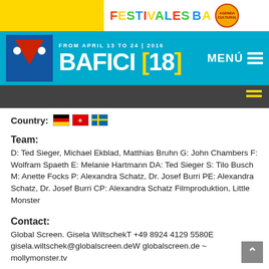[Figure (logo): BAFICI [18] festival header with Festivales BA branding, cyan background, date FROM APRIL 13 TO 24 | 2016]
Country:
Team:
D: Ted Sieger, Michael Ekblad, Matthias Bruhn G: John Chambers F: Wolfram Spaeth E: Melanie Hartmann DA: Ted Sieger S: Tilo Busch M: Anette Focks P: Alexandra Schatz, Dr. Josef Burri PE: Alexandra Schatz, Dr. Josef Burri CP: Alexandra Schatz Filmproduktion, Little Monster
Contact:
Global Screen. Gisela WiltschekT +49 8924 4129 5580E gisela.wiltschek@globalscreen.deW globalscreen.de ~ mollymonster.tv